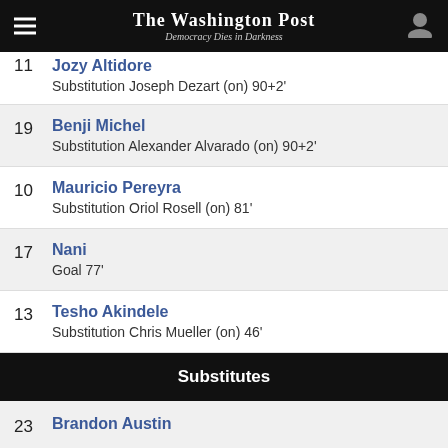The Washington Post — Democracy Dies in Darkness
11 — Substitution Joseph Dezart (on) 90+2'
19 Benji Michel — Substitution Alexander Alvarado (on) 90+2'
10 Mauricio Pereyra — Substitution Oriol Rosell (on) 81'
17 Nani — Goal 77'
13 Tesho Akindele — Substitution Chris Mueller (on) 46'
Substitutes
23 Brandon Austin
26 Michael Halliday